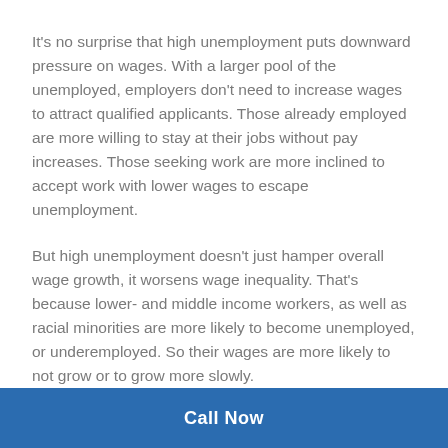It's no surprise that high unemployment puts downward pressure on wages. With a larger pool of the unemployed, employers don't need to increase wages to attract qualified applicants. Those already employed are more willing to stay at their jobs without pay increases. Those seeking work are more inclined to accept work with lower wages to escape unemployment.
But high unemployment doesn't just hamper overall wage growth, it worsens wage inequality. That's because lower- and middle income workers, as well as racial minorities are more likely to become unemployed, or underemployed. So their wages are more likely to not grow or to grow more slowly.
How much hourly wages rise or fall for different workers based
Call Now